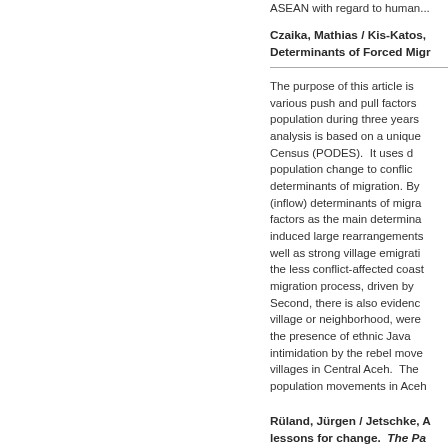ASEAN with regard to human...
Czaika, Mathias / Kis-Katos, ... Determinants of Forced Mig...
The purpose of this article is various push and pull factors population during three years analysis is based on a unique Census (PODES). It uses d population change to conflic determinants of migration. By (inflow) determinants of migra factors as the main determina induced large rearrangements well as strong village emigrati the less conflict-affected coast migration process, driven by Second, there is also evidenc village or neighborhood, were the presence of ethnic Java intimidation by the rebel move villages in Central Aceh. The population movements in Aceh
Rüland, Jürgen / Jetschke, A... lessons for change. The Pa...